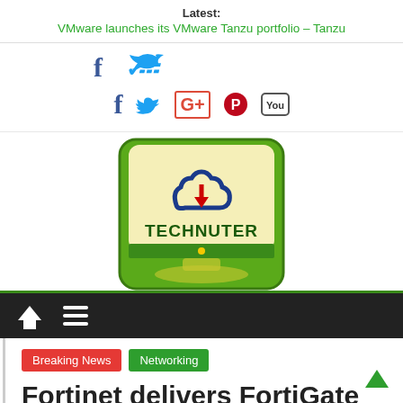Latest:
VMware launches its VMware Tanzu portfolio – Tanzu
[Figure (infographic): Social media icons: Facebook (f), Twitter (bird), Google+, Pinterest, YouTube]
[Figure (logo): Technuter logo: green rounded square with a monitor icon, cloud with down arrow in navy/red, text TECHNUTER in dark green bold]
[Figure (infographic): Navigation bar: dark background with home icon and hamburger menu icon in white]
Breaking News   Networking
Fortinet delivers FortiGate Network Security...